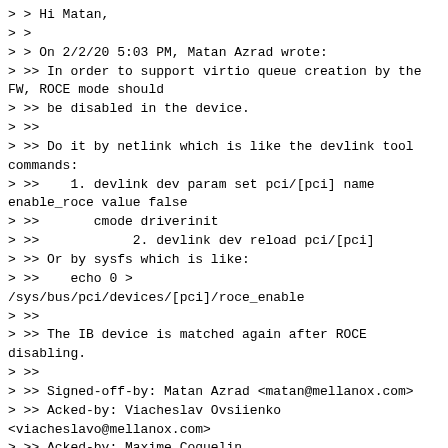> > Hi Matan,
> >
> > On 2/2/20 5:03 PM, Matan Azrad wrote:
> >> In order to support virtio queue creation by the FW, ROCE mode should
> >> be disabled in the device.
> >>
> >> Do it by netlink which is like the devlink tool commands:
> >>    1. devlink dev param set pci/[pci] name enable_roce value false
> >>       cmode driverinit
> >>            2. devlink dev reload pci/[pci]
> >> Or by sysfs which is like:
> >>    echo 0 >
/sys/bus/pci/devices/[pci]/roce_enable
> >>
> >> The IB device is matched again after ROCE disabling.
> >>
> >> Signed-off-by: Matan Azrad <matan@mellanox.com>
> >> Acked-by: Viacheslav Ovsiienko <viacheslavo@mellanox.com>
> >> Acked-by: Maxime Coquelin <maxime.coquelin@redhat.com>
> >> ---
> >>  drivers/vdpa/mlx5/Makefile    |   2 +-
> >>  drivers/vdpa/mlx5/meson.build |   2 +-
> >>  drivers/vdpa/mlx5/mlx5_vdpa.c | 191
> >> ++++++++++++++++++++++++++++++---------